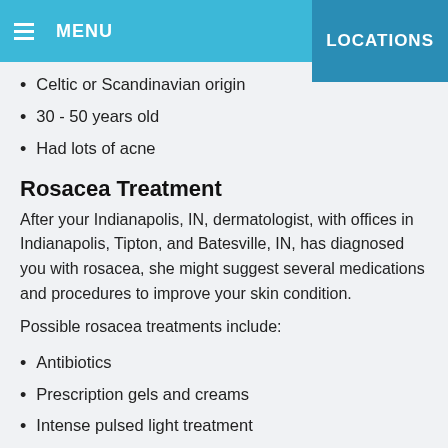MENU   LOCATIONS
Celtic or Scandinavian origin
30 - 50 years old
Had lots of acne
Rosacea Treatment
After your Indianapolis, IN, dermatologist, with offices in Indianapolis, Tipton, and Batesville, IN, has diagnosed you with rosacea, she might suggest several medications and procedures to improve your skin condition.
Possible rosacea treatments include:
Antibiotics
Prescription gels and creams
Intense pulsed light treatment
Dermabrasion
Electrocautery
If you think you might have rosacea or you've noted these possible rosacea signs, it's time to see your dermatologist. Your Indianapolis, IN, dermatologist, Dr. Johnson and Dr. Miles of Dermatology Associates located in Indianapolis